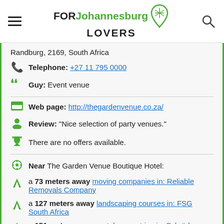FOR Johannesburg LOVERS
Randburg, 2169, South Africa
Telephone: +27 11 795 0000
Guy: Event venue
Web page: http://thegardenvenue.co.za/
Review: "Nice selection of party venues."
There are no offers available.
Near The Garden Venue Boutique Hotel:
a 73 meters away moving companies in: Reliable Removals Company
a 127 meters away landscaping courses in: FSG South Africa
a 151 meters away metal carpentries in: Schröders